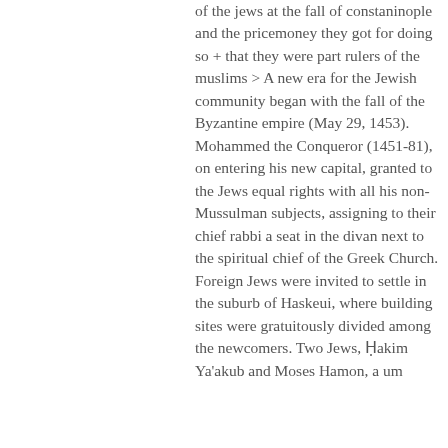of the jews at the fall of constaninople and the pricemoney they got for doing so + that they were part rulers of the muslims > A new era for the Jewish community began with the fall of the Byzantine empire (May 29, 1453). Mohammed the Conqueror (1451-81), on entering his new capital, granted to the Jews equal rights with all his non-Mussulman subjects, assigning to their chief rabbi a seat in the divan next to the spiritual chief of the Greek Church. Foreign Jews were invited to settle in the suburb of Haskeui, where building sites were gratuitously divided among the newcomers. Two Jews, Ḥakim Ya'akub and Moses Hamon, were